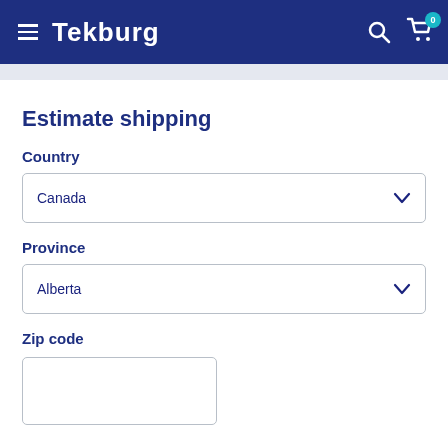Tekburg
Estimate shipping
Country
Canada
Province
Alberta
Zip code